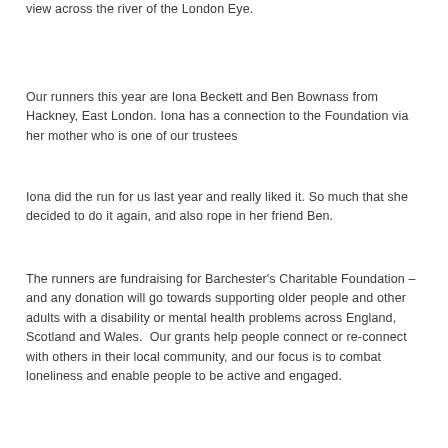view across the river of the London Eye.
Our runners this year are Iona Beckett and Ben Bownass from Hackney, East London. Iona has a connection to the Foundation via her mother who is one of our trustees
Iona did the run for us last year and really liked it. So much that she decided to do it again, and also rope in her friend Ben.
The runners are fundraising for Barchester's Charitable Foundation – and any donation will go towards supporting older people and other adults with a disability or mental health problems across England, Scotland and Wales.  Our grants help people connect or re-connect with others in their local community, and our focus is to combat loneliness and enable people to be active and engaged.